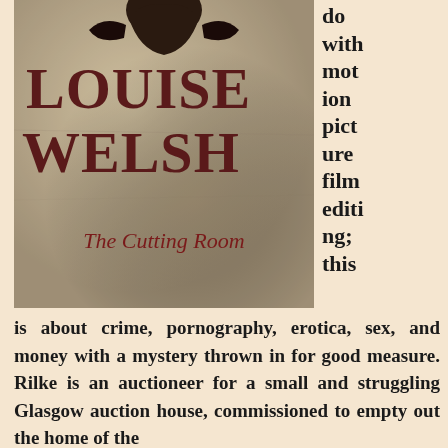[Figure (illustration): Book cover of 'The Cutting Room' by Louise Welsh. Aged parchment/stone texture background with dark figure silhouette at top. Author name 'LOUISE WELSH' in large dark red serif capitals, subtitle 'The Cutting Room' in dark red italic script at bottom.]
do with motion picture film editing; this is about crime, pornography, erotica, sex, and money with a mystery thrown in for good measure. Rilke is an auctioneer for a small and struggling Glasgow auction house, commissioned to empty out the home of the